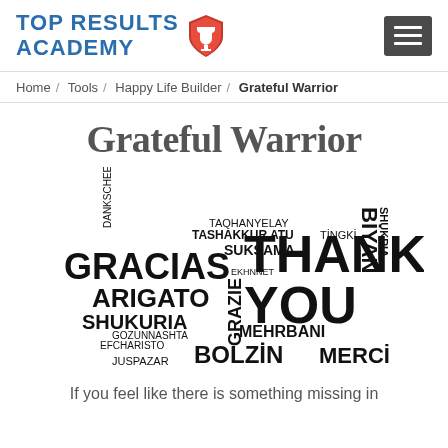[Figure (logo): Top Results Academy logo with trophy shield icon and hamburger menu button]
Home / Tools / Happy Life Builder / Grateful Warrior
Grateful Warrior
[Figure (illustration): Word cloud with 'thank you' in multiple languages including GRACIAS, ARIGATO, SHUKURIA, THANK YOU, MERCI, BOLZIN, GRAZIE, MEHRBANI, and many others]
If you feel like there is something missing in